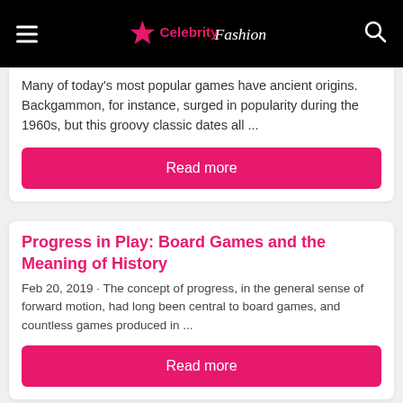Celebrity Fashion
Many of today's most popular games have ancient origins. Backgammon, for instance, surged in popularity during the 1960s, but this groovy classic dates all ...
Read more
Progress in Play: Board Games and the Meaning of History
Feb 20, 2019 · The concept of progress, in the general sense of forward motion, had long been central to board games, and countless games produced in ...
Read more
10 Influential Games That Changed